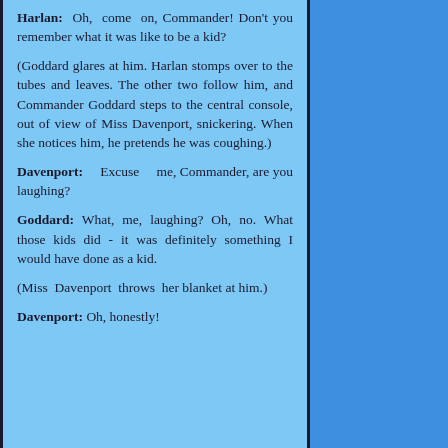Harlan: Oh, come on, Commander! Don't you remember what it was like to be a kid?
(Goddard glares at him. Harlan stomps over to the tubes and leaves. The other two follow him, and Commander Goddard steps to the central console, out of view of Miss Davenport, snickering. When she notices him, he pretends he was coughing.)
Davenport: Excuse me, Commander, are you laughing?
Goddard: What, me, laughing? Oh, no. What those kids did - it was definitely something I would have done as a kid.
(Miss Davenport throws her blanket at him.)
Davenport: Oh, honestly!